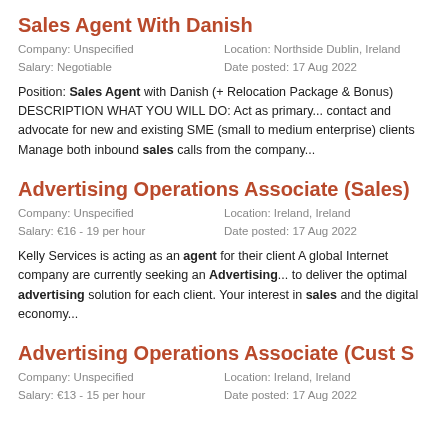Sales Agent With Danish
Company: Unspecified    Location: Northside Dublin, Ireland
Salary: Negotiable    Date posted: 17 Aug 2022
Position: Sales Agent with Danish (+ Relocation Package & Bonus) DESCRIPTION WHAT YOU WILL DO: Act as primary... contact and advocate for new and existing SME (small to medium enterprise) clients Manage both inbound sales calls from the company...
Advertising Operations Associate (Sales)
Company: Unspecified    Location: Ireland, Ireland
Salary: €16 - 19 per hour    Date posted: 17 Aug 2022
Kelly Services is acting as an agent for their client A global Internet company are currently seeking an Advertising... to deliver the optimal advertising solution for each client. Your interest in sales and the digital economy...
Advertising Operations Associate (Cust S
Company: Unspecified    Location: Ireland, Ireland
Salary: €13 - 15 per hour    Date posted: 17 Aug 2022